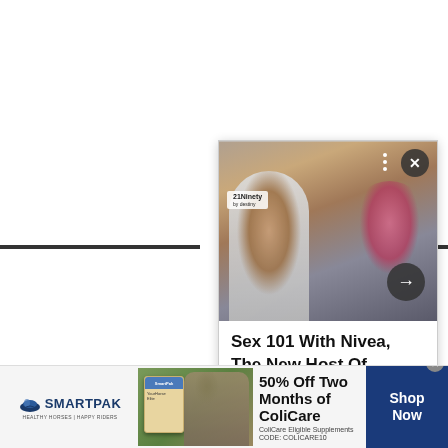[Figure (screenshot): Article card with photo of a man in white t-shirt and woman with pink hair sitting together on a couch. Card has logo overlay, three-dot menu, close button, arrow navigation, and article title text below the image.]
Sex 101 With Nivea, The New Host Of 'Asking For A Friend' – 21Ninety
[Figure (photo): SmartPak advertisement banner with horse logo, product image, and text: 50% Off Two Months of ColiCare, ColiCare Eligible Supplements, CODE: COLICARE10, with Shop Now CTA button]